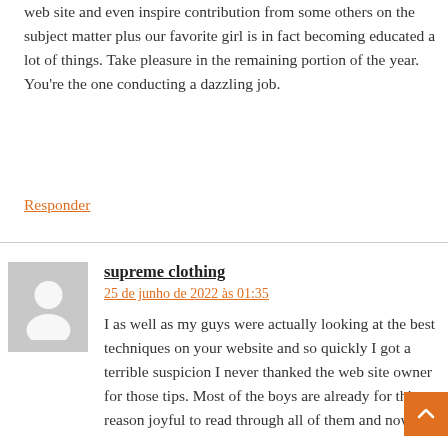web site and even inspire contribution from some others on the subject matter plus our favorite girl is in fact becoming educated a lot of things. Take pleasure in the remaining portion of the year. You're the one conducting a dazzling job.
Responder
supreme clothing
25 de junho de 2022 às 01:35
I as well as my guys were actually looking at the best techniques on your website and so quickly I got a terrible suspicion I never thanked the web site owner for those tips. Most of the boys are already for this reason joyful to read through all of them and now